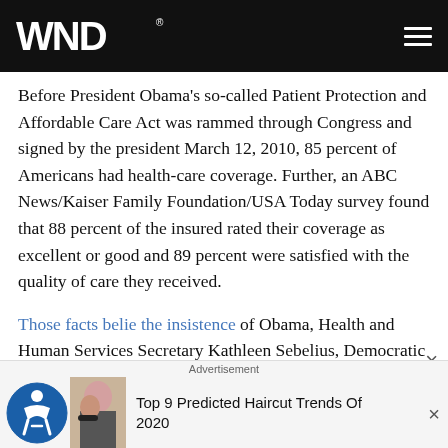WND
Before President Obama's so-called Patient Protection and Affordable Care Act was rammed through Congress and signed by the president March 12, 2010, 85 percent of Americans had health-care coverage. Further, an ABC News/Kaiser Family Foundation/USA Today survey found that 88 percent of the insured rated their coverage as excellent or good and 89 percent were satisfied with the quality of care they received.
Those facts belie the insistence of Obama, Health and Human Services Secretary Kathleen Sebelius, Democratic Senate Majority Leader Harry Reid and
Advertisement — Top 9 Predicted Haircut Trends Of 2020